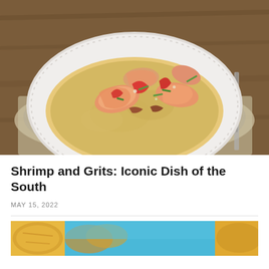[Figure (photo): A white plate with shrimp and grits dish - seasoned shrimp with red peppers and green onions over creamy grits, on a wooden table with a linen napkin and knife]
Shrimp and Grits: Iconic Dish of the South
MAY 15, 2022
[Figure (photo): Partial view of another food dish with yellow/golden coloring on a blue background]